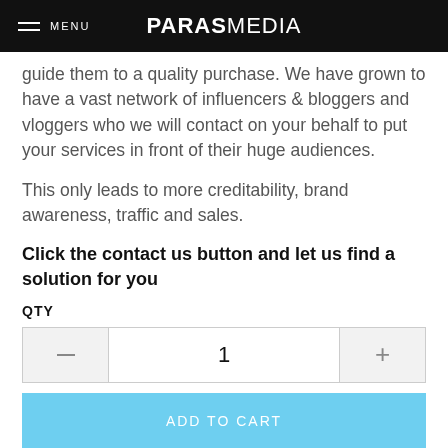MENU | PARASMEDIA
guide them to a quality purchase. We have grown to have a vast network of influencers & bloggers and vloggers who we will contact on your behalf to put your services in front of their huge audiences.
This only leads to more creditability, brand awareness, traffic and sales.
Click the contact us button and let us find a solution for you
QTY
1
ADD TO CART